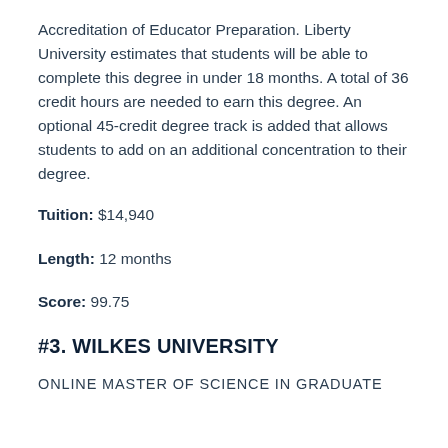Accreditation of Educator Preparation. Liberty University estimates that students will be able to complete this degree in under 18 months. A total of 36 credit hours are needed to earn this degree. An optional 45-credit degree track is added that allows students to add on an additional concentration to their degree.
Tuition: $14,940
Length: 12 months
Score: 99.75
#3. WILKES UNIVERSITY
ONLINE MASTER OF SCIENCE IN GRADUATE